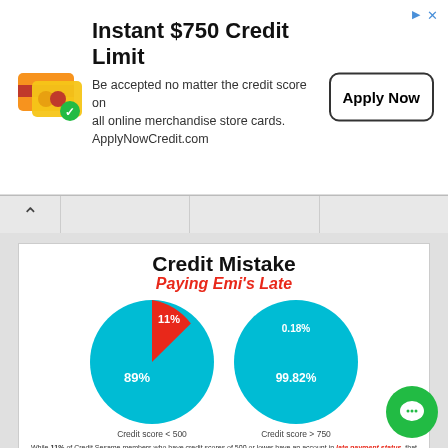[Figure (infographic): Ad banner: Instant $750 Credit Limit with credit card icon and Apply Now button]
Instant $750 Credit Limit
Be accepted no matter the credit score on all online merchandise store cards. ApplyNowCredit.com
[Figure (infographic): Navigation strip with back arrow and tab icons]
[Figure (pie-chart): Two pie charts. Left: Credit score < 500 showing 11% red (late payment) and 89% teal. Right: Credit score > 750 showing 0.18% teal (late payment) and 99.82% teal.]
While 11% of Credit Sesame members who have credit scores of 500 or lower have an account in late payment status, that is the case for merely 0.18% of those whose credit scores are 750 or higher. Source: Credit Sesame
Missing A Single Payment Will Affect Your Credit Score?
Missing A Single Payment Will Affect Your Credit Score?Most people try to put off financial wo